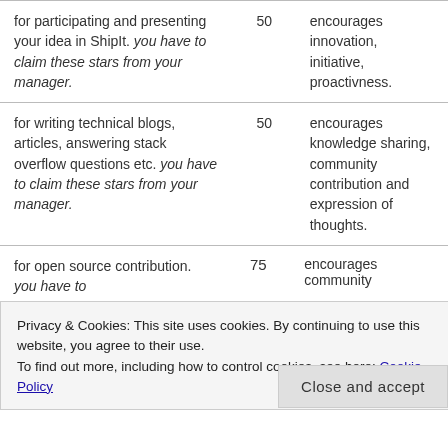| Description | Points | Reason |
| --- | --- | --- |
| for participating and presenting your idea in ShipIt. you have to claim these stars from your manager. | 50 | encourages innovation, initiative, proactivness. |
| for writing technical blogs, articles, answering stack overflow questions etc. you have to claim these stars from your manager. | 50 | encourages knowledge sharing, community contribution and expression of thoughts. |
| for open source contribution. you have to claim these stars from your manager. | 75 | encourages community contribution. |
Privacy & Cookies: This site uses cookies. By continuing to use this website, you agree to their use. To find out more, including how to control cookies, see here: Cookie Policy
Close and accept